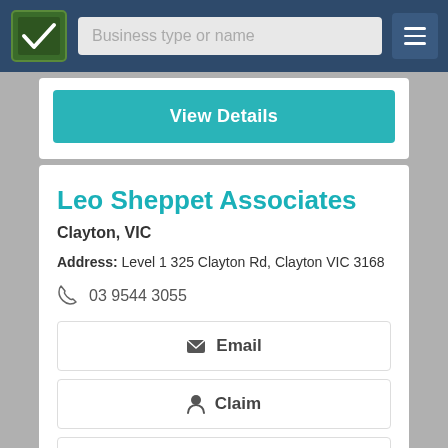Business type or name
View Details
Leo Sheppet Associates
Clayton, VIC
Address: Level 1 325 Clayton Rd, Clayton VIC 3168
03 9544 3055
Email
Claim
Call Now
View Details